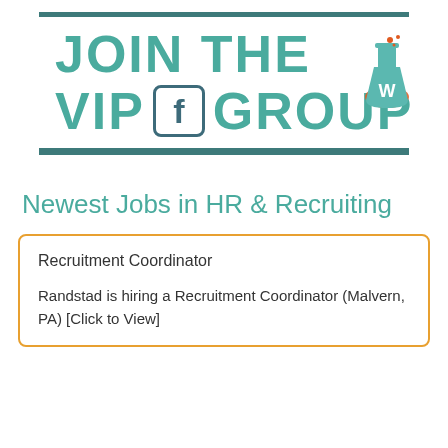[Figure (logo): Banner with teal text 'JOIN THE VIP [f] GROUP' with Facebook icon and a lab flask logo on the right, framed by dark teal horizontal bars top and bottom]
Newest Jobs in HR & Recruiting
Recruitment Coordinator

Randstad is hiring a Recruitment Coordinator (Malvern, PA) [Click to View]